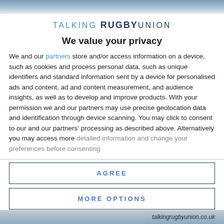[Figure (photo): Top banner image showing a rugby-related scene, partially visible at the top of the page.]
TALKING RUGBY UNION
We value your privacy
We and our partners store and/or access information on a device, such as cookies and process personal data, such as unique identifiers and standard information sent by a device for personalised ads and content, ad and content measurement, and audience insights, as well as to develop and improve products. With your permission we and our partners may use precise geolocation data and identification through device scanning. You may click to consent to our and our partners' processing as described above. Alternatively you may access more detailed information and change your preferences before consenting
AGREE
MORE OPTIONS
talkingrugbyunion.co.uk